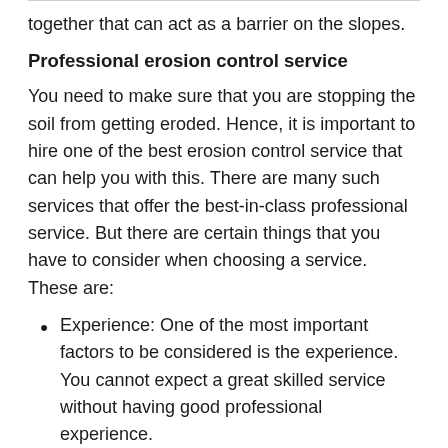together that can act as a barrier on the slopes.
Professional erosion control service
You need to make sure that you are stopping the soil from getting eroded. Hence, it is important to hire one of the best erosion control service that can help you with this. There are many such services that offer the best-in-class professional service. But there are certain things that you have to consider when choosing a service. These are:
Experience: One of the most important factors to be considered is the experience. You cannot expect a great skilled service without having good professional experience.
Tools: Having advanced tools and equipment is very much essential. This can help you to get the best service and great result.